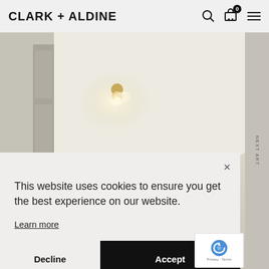CLARK + ALDINE
[Figure (photo): Interior room photo showing ceiling with decorative gold light fixtures, white walls, and cabinetry]
This website uses cookies to ensure you get the best experience on our website.
Learn more
Decline
Accept